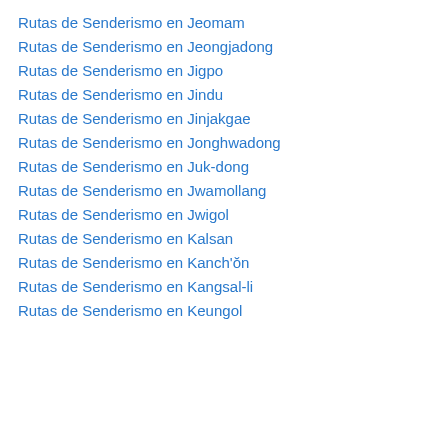Rutas de Senderismo en Jeomam
Rutas de Senderismo en Jeongjadong
Rutas de Senderismo en Jigpo
Rutas de Senderismo en Jindu
Rutas de Senderismo en Jinjakgae
Rutas de Senderismo en Jonghwadong
Rutas de Senderismo en Juk-dong
Rutas de Senderismo en Jwamollang
Rutas de Senderismo en Jwigol
Rutas de Senderismo en Kalsan
Rutas de Senderismo en Kanch'ŏn
Rutas de Senderismo en Kangsal-li
Rutas de Senderismo en Keungol